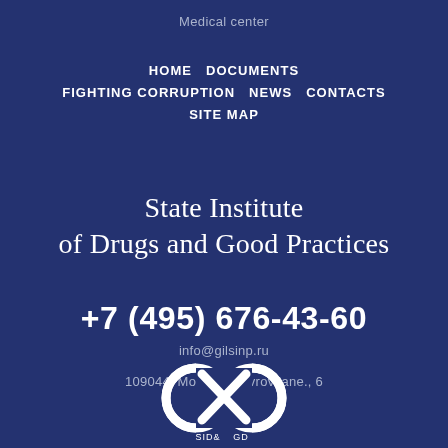Medical center
HOME   DOCUMENTS
FIGHTING CORRUPTION   NEWS   CONTACTS
SITE MAP
State Institute of Drugs and Good Practices
+7 (495) 676-43-60
info@gilsinp.ru
109044, Moscow, Lavrov lane., 6
[Figure (logo): GXP / SID& logo: circular infinity-style logo with letters G, X, P and SID& text below]